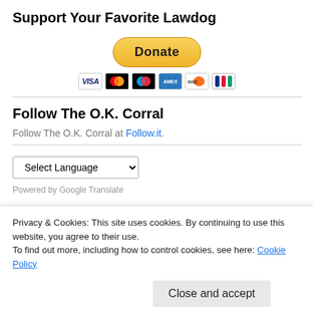Support Your Favorite Lawdog
[Figure (other): PayPal Donate button with payment card icons (Visa, Mastercard, Maestro, Amex, Discover, JCB)]
Follow The O.K. Corral
Follow The O.K. Corral at Follow.it.
Select Language (dropdown)
Privacy & Cookies: This site uses cookies. By continuing to use this website, you agree to their use. To find out more, including how to control cookies, see here: Cookie Policy
Close and accept